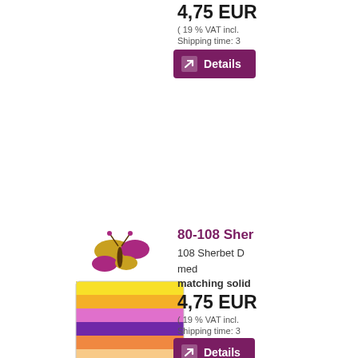4,75 EUR
( 19 % VAT incl.
Shipping time: 3
[Figure (photo): Details button with arrow icon, purple background]
[Figure (photo): Product image: colorful striped ribbon roll with butterfly decoration, sherbet colors]
80-108 Sher
108 Sherbet D med
matching solid
4,75 EUR
( 19 % VAT incl.
Shipping time: 3
[Figure (photo): Details button with arrow icon, purple background]
[Figure (photo): Product image: colorful striped ribbon roll with butterfly decoration, wildflower colors]
80-109 Wild
109 Wildflowe
matching solid
4,75 EUR